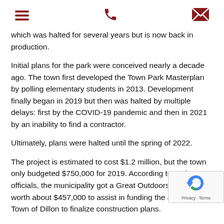[menu icon] [phone icon] [mail icon]
which was halted for several years but is now back in production.
Initial plans for the park were conceived nearly a decade ago. The town first developed the Town Park Masterplan by polling elementary students in 2013. Development finally began in 2019 but then was halted by multiple delays: first by the COVID-19 pandemic and then in 2021 by an inability to find a contractor.
Ultimately, plans were halted until the spring of 2022.
The project is estimated to cost $1.2 million, but the town only budgeted $750,000 for 2019. According to project officials, the municipality got a Great Outdoors Colo grant worth about $457,000 to assist in funding the allowing the Town of Dillon to finalize construction plans.